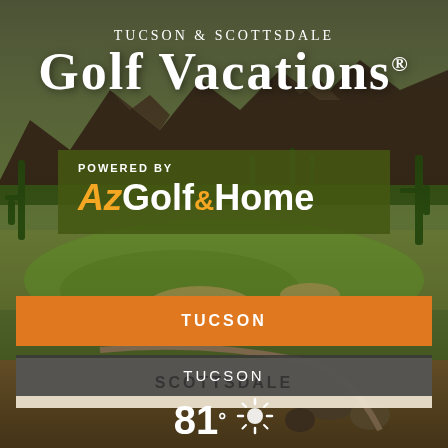[Figure (photo): Aerial view of a desert golf course in Arizona with saguaro cacti, rocky mountains, green fairways, sand bunkers, and desert scrub vegetation.]
Tucson & Scottsdale GOLF VACATIONS®
POWERED BY AzGolf&Home
TUCSON
SCOTTSDALE
TUCSON
81°